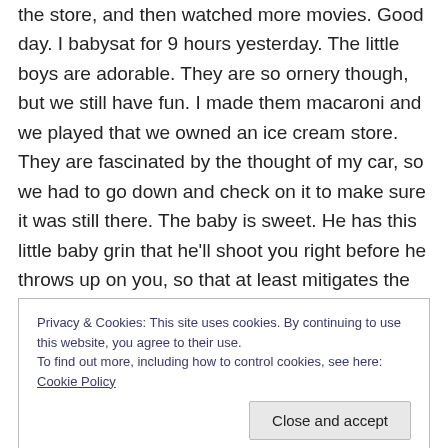the store, and then watched more movies. Good day. I babysat for 9 hours yesterday. The little boys are adorable. They are so ornery though, but we still have fun. I made them macaroni and we played that we owned an ice cream store. They are fascinated by the thought of my car, so we had to go down and check on it to make sure it was still there. The baby is sweet. He has this little baby grin that he'll shoot you right before he throws up on you, so that at least mitigates the fact that you've been thrown up on. We went for a walk to try and find geese (we didn't) and to run through leaves (we did) which was nice, but a
Privacy & Cookies: This site uses cookies. By continuing to use this website, you agree to their use. To find out more, including how to control cookies, see here: Cookie Policy
Enjoy these pictures as much as I do.